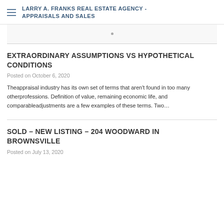LARRY A. FRANKS REAL ESTATE AGENCY - APPRAISALS AND SALES
EXTRAORDINARY ASSUMPTIONS VS HYPOTHETICAL CONDITIONS
Posted on October 6, 2020
Theappraisal industry has its own set of terms that aren't found in too many otherprofessions. Definition of value, remaining economic life, and comparableadjustments are a few examples of these terms. Two…
SOLD – NEW LISTING – 204 WOODWARD IN BROWNSVILLE
Posted on July 13, 2020